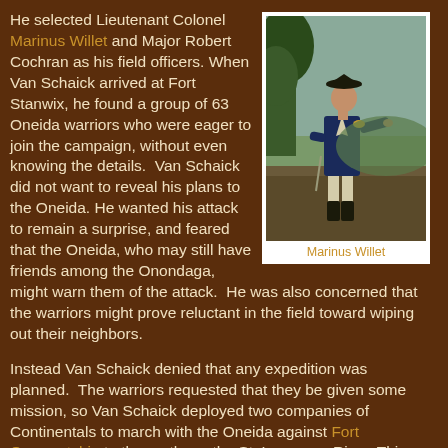He selected Lieutenant Colonel Marinus Willet and Major Robert Cochran as his field officers. When Van Schaick arrived at Fort Stanwix, he found a group of 63 Oneida warriors who were eager to join the campaign, without even knowing the details.  Van Schaick did not want to reveal his plans to the Oneida. He wanted his attack to remain a surprise, and feared that the Oneida, who may still have friends among the Onondaga, might warn them of the attack.  He was also concerned that the warriors might prove reluctant in the field toward wiping out their neighbors.
[Figure (illustration): Portrait painting of Marinus Willet in Revolutionary War era military uniform, standing with one arm extended, wearing a tricorn hat and white breeches with a dark coat, against a landscape background.]
Marinus Willet
Instead Van Schaick denied that any expedition was planned.  The warriors requested that they be given some mission, so Van Schaick deployed two companies of Continentals to march with the Oneida against Fort Oswegatchie to the north, on the St. Lawrence River. This